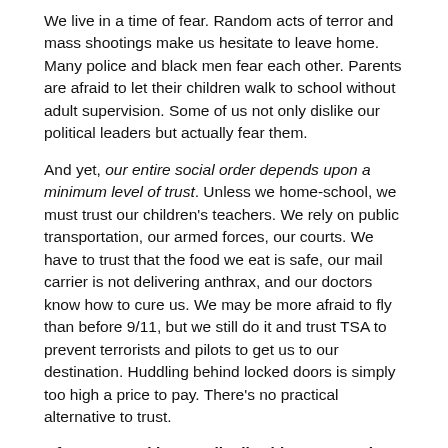We live in a time of fear. Random acts of terror and mass shootings make us hesitate to leave home. Many police and black men fear each other. Parents are afraid to let their children walk to school without adult supervision. Some of us not only dislike our political leaders but actually fear them.
And yet, our entire social order depends upon a minimum level of trust. Unless we home-school, we must trust our children's teachers. We rely on public transportation, our armed forces, our courts. We have to trust that the food we eat is safe, our mail carrier is not delivering anthrax, and our doctors know how to cure us. We may be more afraid to fly than before 9/11, but we still do it and trust TSA to prevent terrorists and pilots to get us to our destination. Huddling behind locked doors is simply too high a price to pay. There's no practical alternative to trust.
Of course, making small talk with strangers is not the whole answer, but it's a step in the right direction. A friendly hello to your neighborhood cop, teens on the corner,